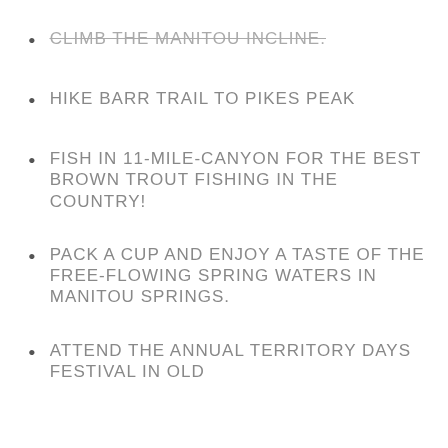CLIMB THE MANITOU INCLINE.
HIKE BARR TRAIL TO PIKES PEAK
FISH IN 11-MILE-CANYON FOR THE BEST BROWN TROUT FISHING IN THE COUNTRY!
PACK A CUP AND ENJOY A TASTE OF THE FREE-FLOWING SPRING WATERS IN MANITOU SPRINGS.
ATTEND THE ANNUAL TERRITORY DAYS FESTIVAL IN OLD